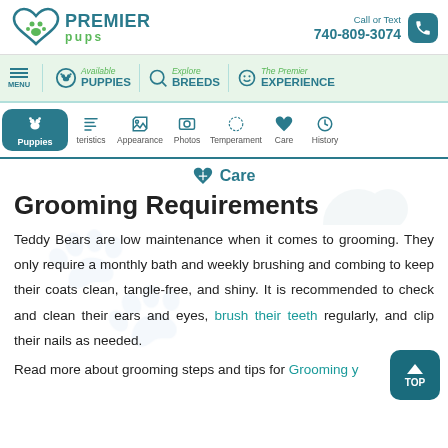Premier Pups | Call or Text 740-809-3074
MENU | Available PUPPIES | Explore BREEDS | The Premier EXPERIENCE
Puppies | characteristics | Appearance | Photos | Temperament | Care | History
Care
Grooming Requirements
Teddy Bears are low maintenance when it comes to grooming. They only require a monthly bath and weekly brushing and combing to keep their coats clean, tangle-free, and shiny. It is recommended to check and clean their ears and eyes, brush their teeth regularly, and clip their nails as needed.
Read more about grooming steps and tips for Grooming y...